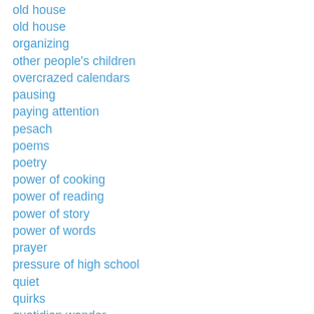old house
old house
organizing
other people's children
overcrazed calendars
pausing
paying attention
pesach
poems
poetry
power of cooking
power of reading
power of story
power of words
prayer
pressure of high school
quiet
quirks
quotidian wonder
rain